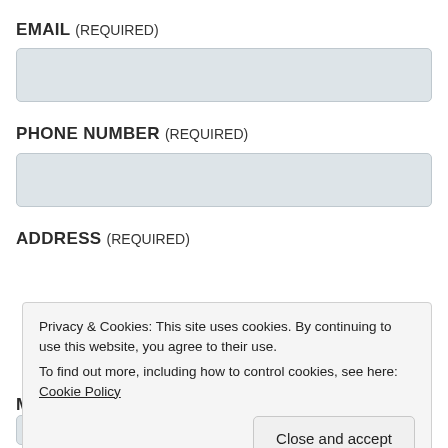EMAIL (REQUIRED)
[Figure (other): Email input text field (empty, light blue-grey background)]
PHONE NUMBER (REQUIRED)
[Figure (other): Phone number input text field (empty, light blue-grey background)]
ADDRESS (REQUIRED)
Privacy & Cookies: This site uses cookies. By continuing to use this website, you agree to their use. To find out more, including how to control cookies, see here: Cookie Policy
Close and accept
M
[Figure (other): Address input text field (empty, light blue-grey background, partially visible)]